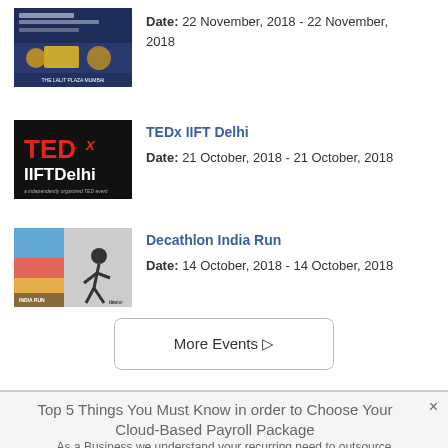[Figure (photo): Event banner image for an event at The Lalit Plaza Mumbai]
Date: 22 November, 2018 - 22 November, 2018
[Figure (photo): TEDx IIFTDelhi event logo — white and red text on black background]
TEDx IIFT Delhi
Date: 21 October, 2018 - 21 October, 2018
[Figure (photo): Decathlon India Run event banner with a runner image]
Decathlon India Run
Date: 14 October, 2018 - 14 October, 2018
More Events ▷
Top 5 Things You Must Know in order to Choose Your Cloud-Based Payroll Package
As a Business we understand your recurring need to outsource